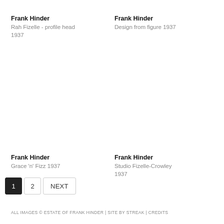Frank Hinder
Rah Fizelle - profile head
1937
Frank Hinder
Design from figure 1937
Frank Hinder
Grace 'n' Fizz 1937
Frank Hinder
Studio Fizelle-Crowley
1937
ALL IMAGES © ESTATE OF FRANK HINDER | SITE BY STREAK | CREDITS